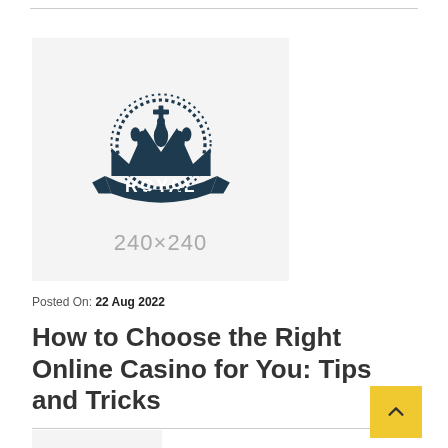[Figure (logo): Royal crown logo with banner reading ROYAL, dark navy color, with placeholder dimensions 240x240 shown below]
Posted On: 22 Aug 2022
How to Choose the Right Online Casino for You: Tips and Tricks